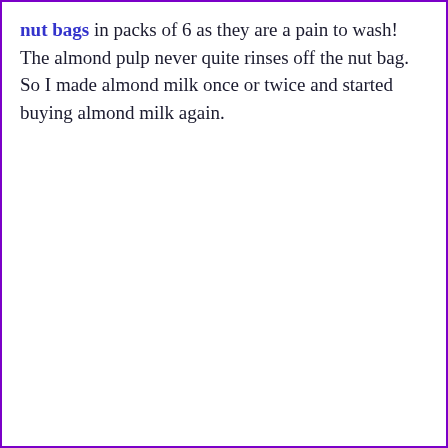nut bags in packs of 6 as they are a pain to wash! The almond pulp never quite rinses off the nut bag. So I made almond milk once or twice and started buying almond milk again.